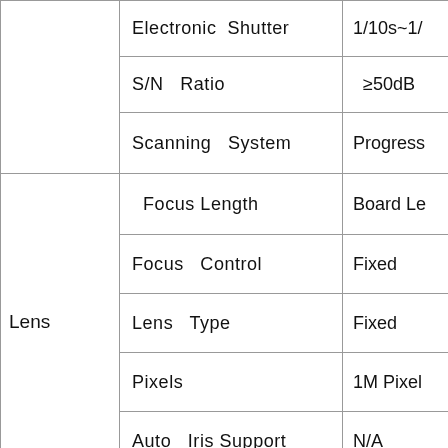| Category | Parameter | Value |
| --- | --- | --- |
|  | Electronic Shutter | 1/10s~1/... |
|  | S/N Ratio | ≥50dB |
|  | Scanning System | Progress... |
| Lens | Focus Length | Board Le... |
| Lens | Focus Control | Fixed |
| Lens | Lens Type | Fixed |
| Lens | Pixels | 1M Pixel... |
| Lens | Auto Iris Support | N/A |
| Night Vison | Infrared SMD LED | 14μ x 12... |
| Night Vison | Infrared Distance | 15-20M |
| Night Vison | IR Status | 10... |
| Night Vison | IR Power On | CDS Au... |